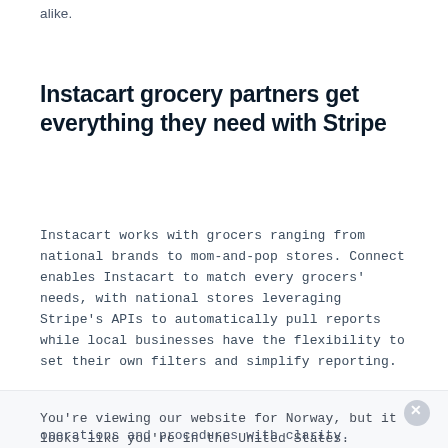alike.
Instacart grocery partners get everything they need with Stripe
Instacart works with grocers ranging from national brands to mom-and-pop stores. Connect enables Instacart to match every grocers' needs, with national stores leveraging Stripe's APIs to automatically pull reports while local businesses have the flexibility to set their own filters and simplify reporting.
You're viewing our website for Norway, but it looks like you're in the United States. Switch to the United States site ›
operations and procedures with clarity.